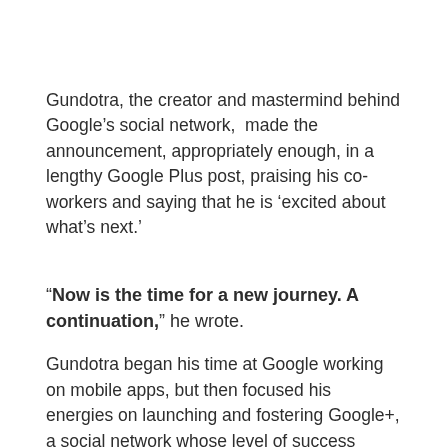Gundotra, the creator and mastermind behind Google's social network,  made the announcement, appropriately enough, in a lengthy Google Plus post, praising his co-workers and saying that he is 'excited about what's next.'
"Now is the time for a new journey. A continuation," he wrote.
Gundotra began his time at Google working on mobile apps, but then focused his energies on launching and fostering Google+, a social network whose level of success mostly lies in the eye of the beholder. Google+ has grown impressively since its 2011 to more than half a billion users. But Google's